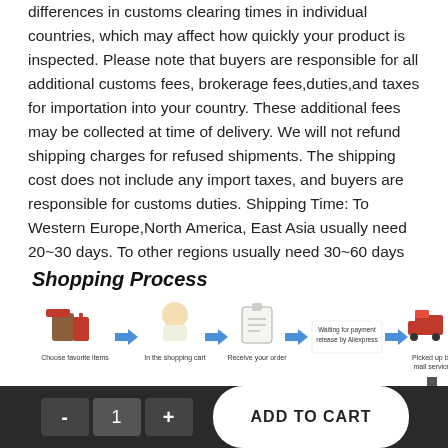differences in customs clearing times in individual countries, which may affect how quickly your product is inspected. Please note that buyers are responsible for all additional customs fees, brokerage fees,duties,and taxes for importation into your country. These additional fees may be collected at time of delivery. We will not refund shipping charges for refused shipments. The shipping cost does not include any import taxes, and buyers are responsible for customs duties. Shipping Time: To Western Europe,North America, East Asia usually need 20~30 days. To other regions usually need 30~60 days
[Figure (infographic): Shopping Process infographic showing 5 steps with icons and arrows: Choose favorite items → In the shopping cart → Receive your order → Waiting for payment release by Aliexpress → Picked up by mail service, followed by a downward arrow and partial view of more steps below.]
- 1 + ADD TO CART